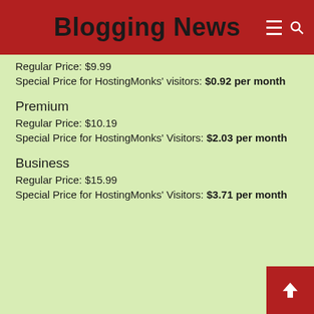Blogging News
Regular Price: $9.99
Special Price for HostingMonks' visitors: $0.92 per month
Premium
Regular Price: $10.19
Special Price for HostingMonks' Visitors: $2.03 per month
Business
Regular Price: $15.99
Special Price for HostingMonks' Visitors: $3.71 per month